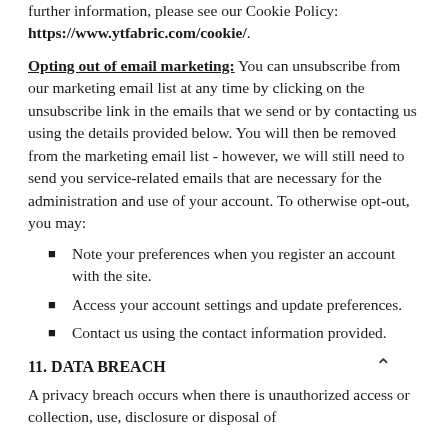further information, please see our Cookie Policy: https://www.ytfabric.com/cookie/.
Opting out of email marketing: You can unsubscribe from our marketing email list at any time by clicking on the unsubscribe link in the emails that we send or by contacting us using the details provided below. You will then be removed from the marketing email list - however, we will still need to send you service-related emails that are necessary for the administration and use of your account. To otherwise opt-out, you may:
Note your preferences when you register an account with the site.
Access your account settings and update preferences.
Contact us using the contact information provided.
11. DATA BREACH
A privacy breach occurs when there is unauthorized access or collection, use, disclosure or disposal of